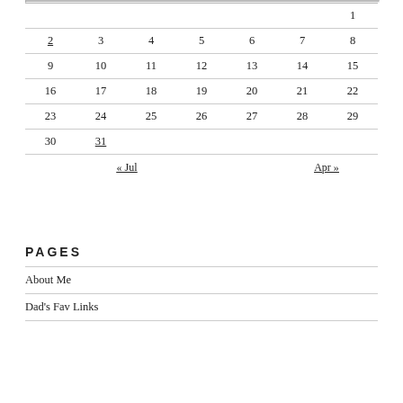|  |  |  |  |  |  |  |
| --- | --- | --- | --- | --- | --- | --- |
|  |  |  |  |  |  | 1 |
| 2 | 3 | 4 | 5 | 6 | 7 | 8 |
| 9 | 10 | 11 | 12 | 13 | 14 | 15 |
| 16 | 17 | 18 | 19 | 20 | 21 | 22 |
| 23 | 24 | 25 | 26 | 27 | 28 | 29 |
| 30 | 31 |  |  |  |  |  |
| « Jul |  |  |  |  |  | Apr » |
PAGES
About Me
Dad's Fav Links